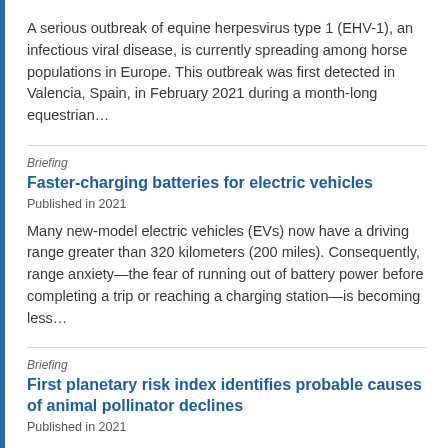A serious outbreak of equine herpesvirus type 1 (EHV-1), an infectious viral disease, is currently spreading among horse populations in Europe. This outbreak was first detected in Valencia, Spain, in February 2021 during a month-long equestrian…
Briefing
Faster-charging batteries for electric vehicles
Published in 2021
Many new-model electric vehicles (EVs) now have a driving range greater than 320 kilometers (200 miles). Consequently, range anxiety—the fear of running out of battery power before completing a trip or reaching a charging station—is becoming less…
Briefing
First planetary risk index identifies probable causes of animal pollinator declines
Published in 2021